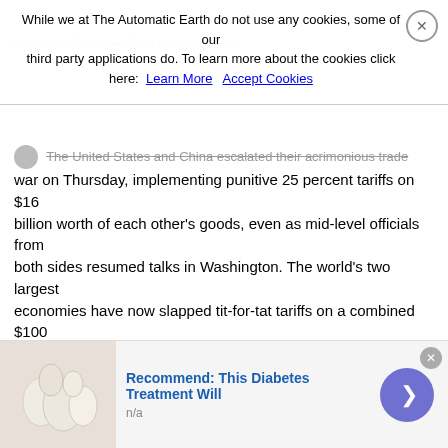While we at The Automatic Earth do not use any cookies, some of our third party applications do. To learn more about the cookies click here: Learn More  Accept Cookies
The United States and China escalated their acrimonious trade war on Thursday, implementing punitive 25 percent tariffs on $16 billion worth of each other’s goods, even as mid-level officials from both sides resumed talks in Washington. The world’s two largest economies have now slapped tit-for-tat tariffs on a combined $100 billion of products since early July, with more in the pipeline, adding to risks to global economic growth. China’s Commerce Ministry said Washington was “remaining obstinate” by implementing the latest tariffs, which kicked-in on both sides as scheduled at 12:01 p.m. in Beijing (0401 GMT). “China resolutely opposes this, and will continue to take necessary countermeasures,” it said in a brief statement.
“At the same time, to safeguard free trade and multilateral systems, and defend its own lawful interests, China will file suit regarding these tariff measures under the WTO dispute resolution
[Figure (infographic): Advertisement banner: image of white garlic cloves or eggs on plate on left, blue text 'Recommend: This Diabetes Treatment Will' in center, 'n/a' subtitle, purple circle arrow button on right, close X button top-right]